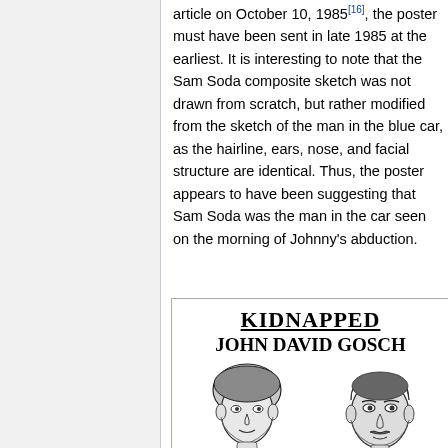article on October 10, 1985[16], the poster must have been sent in late 1985 at the earliest. It is interesting to note that the Sam Soda composite sketch was not drawn from scratch, but rather modified from the sketch of the man in the blue car, as the hairline, ears, nose, and facial structure are identical. Thus, the poster appears to have been suggesting that Sam Soda was the man in the car seen on the morning of Johnny's abduction.
[Figure (illustration): A missing persons poster reading KIDNAPPED / JOHN DAVID GOSCH with two face sketches — one of a young boy and one labeled Composite Of Suspect.]